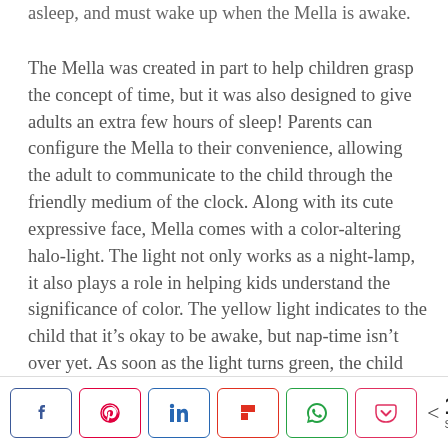asleep, and must wake up when the Mella is awake.
The Mella was created in part to help children grasp the concept of time, but it was also designed to give adults an extra few hours of sleep! Parents can configure the Mella to their convenience, allowing the adult to communicate to the child through the friendly medium of the clock. Along with its cute expressive face, Mella comes with a color-altering halo-light. The light not only works as a night-lamp, it also plays a role in helping kids understand the significance of color. The yellow light indicates to the child that it's okay to be awake, but nap-time isn't over yet. As soon as the light turns green, the child knows that they can get out of bed. Perfect for getting children to follow YOUR schedule, the Mella is ideal for naps, time-outs, or even indicating playing times. Its sleep-sound generator and